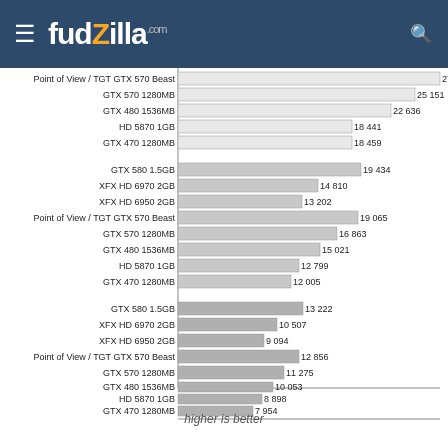fudzilla.com
[Figure (bar-chart): GPU Benchmark Comparison]
higher is better